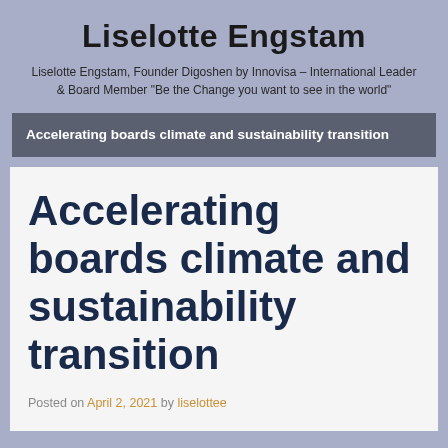Liselotte Engstam
Liselotte Engstam, Founder Digoshen by Innovisa – International Leader & Board Member "Be the Change you want to see in the world"
Accelerating boards climate and sustainability transition
Accelerating boards climate and sustainability transition
Posted on April 2, 2021 by liselottee